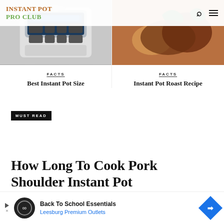INSTANT POT PRO CLUB
[Figure (photo): Instant pot pressure cooker appliance photo]
[Figure (photo): Cooked roast with vegetables photo]
FACTS
Best Instant Pot Size
FACTS
Instant Pot Roast Recipe
MUST READ
How Long To Cook Pork Shoulder Instant Pot
[Figure (screenshot): Back To School Essentials - Leesburg Premium Outlets advertisement banner]